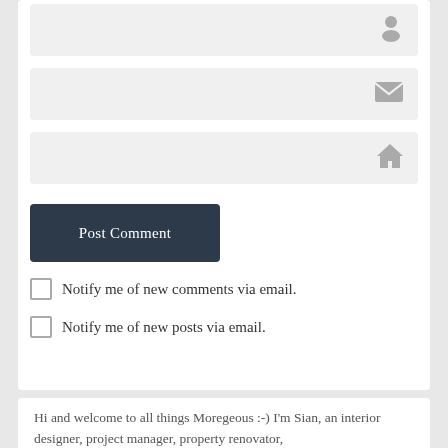[Figure (screenshot): Three input form fields with icons: a person icon, an envelope icon, and a house icon, all on a light gray background.]
[Figure (screenshot): Dark navy 'Post Comment' button]
Notify me of new comments via email.
Notify me of new posts via email.
Hi and welcome to all things Moregeous :-) I'm Sian, an interior designer, project manager, property renovator,